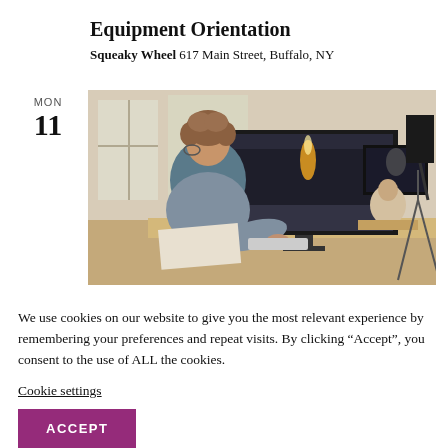Equipment Orientation
Squeaky Wheel 617 Main Street, Buffalo, NY
MON
11
[Figure (photo): Person sitting at a desk working on a video editing workstation with multiple monitors in a studio setting]
We use cookies on our website to give you the most relevant experience by remembering your preferences and repeat visits. By clicking “Accept”, you consent to the use of ALL the cookies.
Cookie settings
ACCEPT